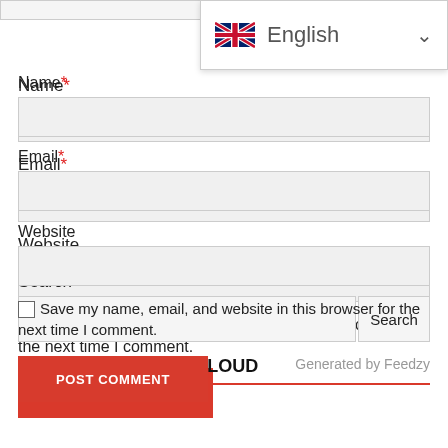[Figure (screenshot): Language selector dropdown showing UK flag and 'English' with chevron]
Name*
Email*
Website
Save my name, email, and website in this browser for the next time I comment.
POST COMMENT
Search
Search
CATEGORIZED TAG CLOUD
Generated by Feedzy